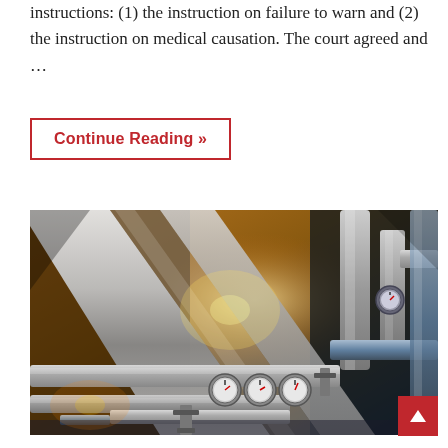instructions: (1) the instruction on failure to warn and (2) the instruction on medical causation. The court agreed and …
Continue Reading »
[Figure (photo): Industrial facility interior showing complex network of large metallic pipes, gauges, and machinery with yellow and blue lighting.]